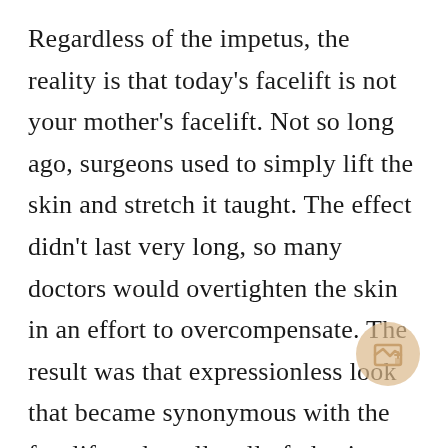Regardless of the impetus, the reality is that today's facelift is not your mother's facelift. Not so long ago, surgeons used to simply lift the skin and stretch it taught. The effect didn't last very long, so many doctors would overtighten the skin in an effort to overcompensate. The result was that expressionless look that became synonymous with the facelift and, really, all of plastic surgery for a while. Doctors now have a better understanding of the underlying bone structure and